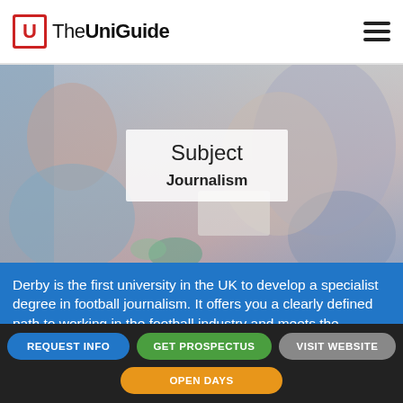The UniGuide
[Figure (photo): Hero background image of students, with white overlay box showing Subject: Journalism]
Subject
Journalism
Derby is the first university in the UK to develop a specialist degree in football journalism. It offers you a clearly defined path to working in the football industry and meets the growing demand for highly [skilled, highly-qualified, multi-media journalists]
REQUEST INFO
GET PROSPECTUS
VISIT WEBSITE
OPEN DAYS